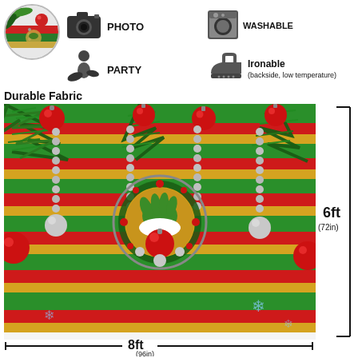[Figure (illustration): Circular thumbnail preview of the Christmas/Grinch backdrop with green leaves and red/gold/green stripes]
[Figure (infographic): Product feature icons: camera (PHOTO), washing machine (WASHABLE), DJ figure (PARTY), iron (Ironable, backside low temperature)]
Durable Fabric
[Figure (photo): Christmas themed photo backdrop with red, green, gold and white horizontal stripes, pine branches and red ornament balls hanging from top, silver bead chains, and a central circular medallion with a green Grinch hand holding a red ornament ball]
6ft
(72in)
8ft
(96in)